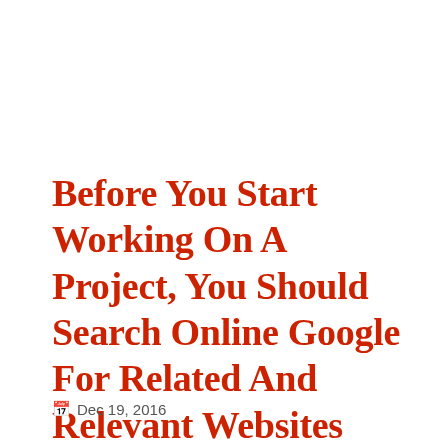Before You Start Working On A Project, You Should Search Online Google For Related And Relevant Websites And Blogs.
Dec 19, 2016